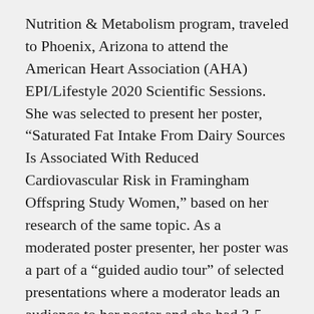Nutrition & Metabolism program, traveled to Phoenix, Arizona to attend the American Heart Association (AHA) EPI/Lifestyle 2020 Scientific Sessions. She was selected to present her poster, “Saturated Fat Intake From Dairy Sources Is Associated With Reduced Cardiovascular Risk in Framingham Offspring Study Women,” based on her research of the same topic. As a moderated poster presenter, her poster was a part of a “guided audio tour” of selected presentations where a moderator leads an audience to her poster and she had 3-5 minutes to give a brief overview and then 5-7 minutes to answer the questions. MJ said,“It really honed my presentation skills – I learned how to prioritize the most important part of my work and delivered it clearly to the audience. In